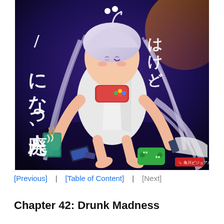[Figure (illustration): Manga/light novel cover art showing an anime girl with long white/silver hair sitting on a dark floor surrounded by gaming devices, a cup with chopsticks, and various items. Japanese text overlaid on the left and top-right sides of the image. A publisher logo is visible in the bottom right corner.]
[Previous]  |  [Table of Content]  |  [Next]
Chapter 42: Drunk Madness